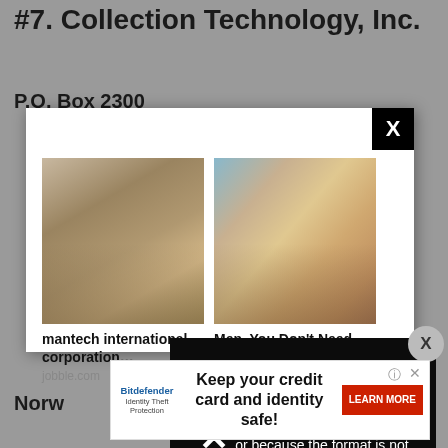#7. Collection Technology, Inc.
P.O. Box 2300
[Figure (screenshot): Ad popup modal with two sponsored content images: left shows woman writing (mantech international corporation... jobble.com), right shows woman seated outdoors (Men, You Don't Need The Blue Pill If You Do This... iamhealth.life). Modal has black X close button in top right. A media error overlay shows 'The media could not be loaded, either because the server or network failed or because the format is not supported.' with a large X. A circular X button appears to the right. A bottom banner ad for Bitdefender Identity Theft Protection says 'Keep your credit card and identity safe!' with a red LEARN MORE button.]
Norw